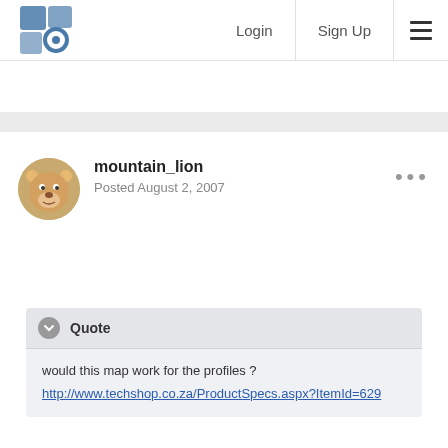Login  Sign Up
[Figure (logo): Stylized logo with blue/grey geometric shapes resembling a lens or target]
mountain_lion
Posted August 2, 2007
[Figure (photo): Round avatar of a cartoon lion character]
would this map work for the profiles ?
http://www.techshop.co.za/ProductSpecs.aspx?ItemId=629